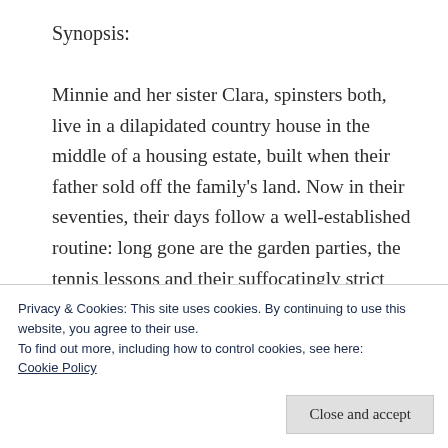Synopsis:
Minnie and her sister Clara, spinsters both, live in a dilapidated country house in the middle of a housing estate, built when their father sold off the family’s land. Now in their seventies, their days follow a well-established routine: long gone are the garden parties, the tennis lessons and their suffocatingly strict mother. Gone, too, is any mention of what happened when Minnie was sixteen, and the secret the family buried in the grounds of their estate.
Privacy & Cookies: This site uses cookies. By continuing to use this website, you agree to their use.
To find out more, including how to control cookies, see here: Cookie Policy
Close and accept